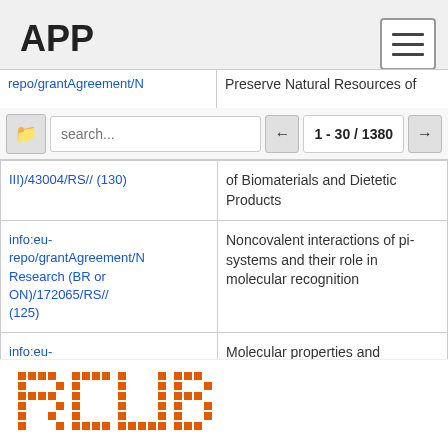APP
| Grant Agreement | Title |
| --- | --- |
| repo/grantAgreement/N | Preserve Natural Resources of |
| III)/43004/RS// (130) | of Biomaterials and Dietetic Products |
| info:eu-repo/grantAgreement/N Research (BR or ON)/172065/RS// (125) | Noncovalent interactions of pi-systems and their role in molecular recognition |
| info:eu-repo/grantAgreement/N Research (BR or ON)/172024/RS// (116) | Molecular properties and modifications of some respiratory and nutritional allergens |
| info:eu- |  |
[Figure (logo): RCUB pixelated orange letter logo at the bottom of the page]